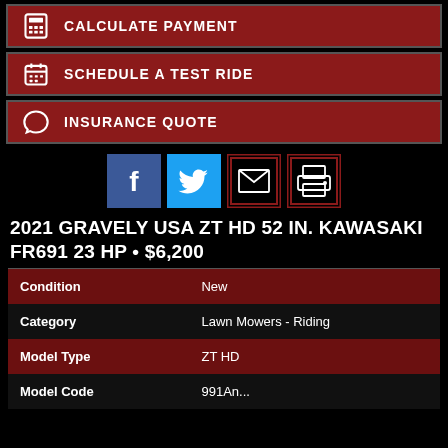CALCULATE PAYMENT
SCHEDULE A TEST RIDE
INSURANCE QUOTE
[Figure (infographic): Social sharing icons: Facebook, Twitter, Email, Print]
2021 GRAVELY USA ZT HD 52 IN. KAWASAKI FR691 23 HP • $6,200
| Condition | New |
| Category | Lawn Mowers - Riding |
| Model Type | ZT HD |
| Model Code | 991An... |